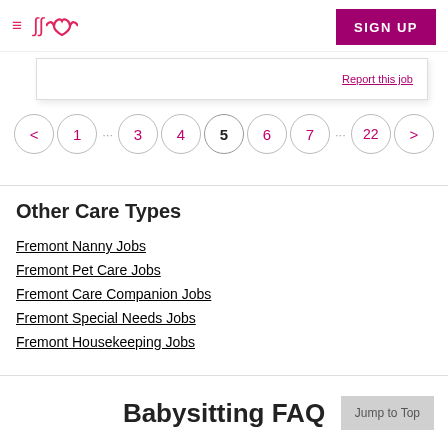≡ ∞ SIGN UP
[Figure (screenshot): Partial card snippet with a link at the right edge]
[Figure (other): Pagination control showing: < 1 ... 3 4 5 6 7 ... 22 >]
Other Care Types
Fremont Nanny Jobs
Fremont Pet Care Jobs
Fremont Care Companion Jobs
Fremont Special Needs Jobs
Fremont Housekeeping Jobs
Babysitting FAQ